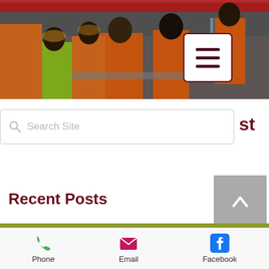[Figure (photo): Group of workers in orange high-visibility vests and helmets in an industrial warehouse setting]
[Figure (other): Hamburger menu button (three horizontal lines) in a white rounded square with dark red border]
[Figure (other): Search bar with magnifying glass icon and placeholder text 'Search Site', partially overlapping a dark red 'st' text on the right]
st
[Figure (other): Gray scroll-to-top button with white upward chevron arrow]
Recent Posts
[Figure (other): Olive/green-yellow horizontal divider bar]
[Figure (other): Footer navigation bar with Phone (green phone icon), Email (pink envelope icon), Facebook (blue Facebook icon) contact options]